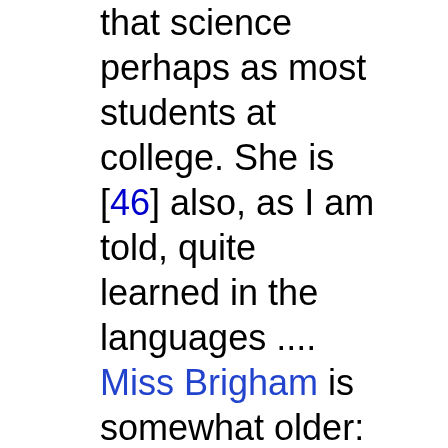that science perhaps as most students at college. She is [46] also, as I am told, quite learned in the languages .... Miss Brigham is somewhat older: is possessed of a fine mind and most unconquerable energy and perseverance of character. From early childhood she has been determined to obtain an education, and to attain to a certain standard. Where persons are determined to be